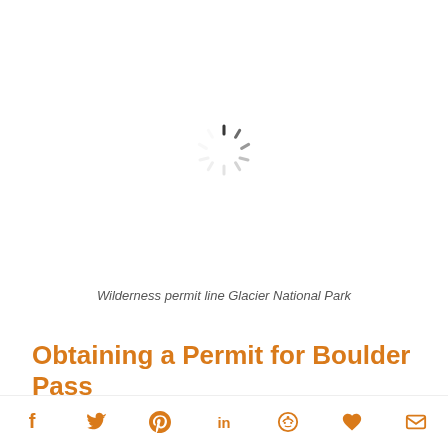[Figure (other): Loading spinner / circular progress indicator, gray dashes arranged in a circle]
Wilderness permit line Glacier National Park
Obtaining a Permit for Boulder Pass
All this changed last summer. Because of the COVID
Social share icons: Facebook, Twitter, Pinterest, LinkedIn, Reddit, Heart/Save, Email